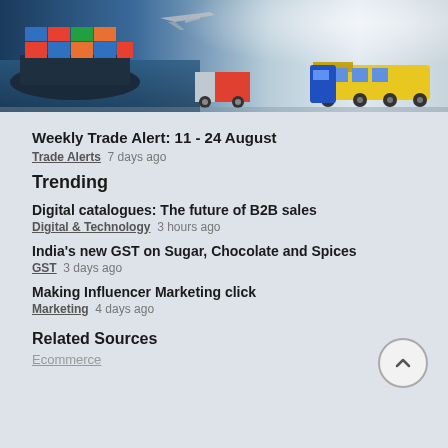[Figure (photo): Hero image showing cargo shipping containers, truck, airplane, and train — logistics and trade transportation]
Weekly Trade Alert: 11 - 24 August
Trade Alerts  7 days ago
Trending
Digital catalogues: The future of B2B sales
Digital & Technology  3 hours ago
India's new GST on Sugar, Chocolate and Spices
GST  3 days ago
Making Influencer Marketing click
Marketing  4 days ago
Related Sources
Ecommerce